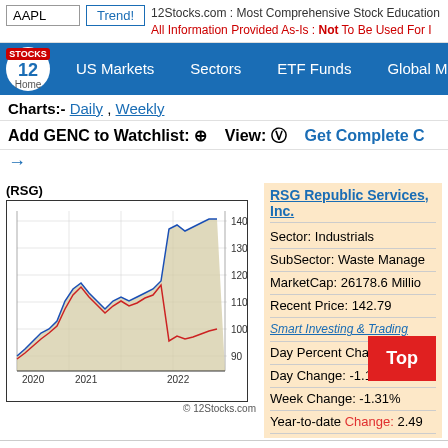AAPL  Trend!  12Stocks.com : Most Comprehensive Stock Education  All Information Provided As-Is : Not To Be Used For I...
US Markets  Sectors  ETF Funds  Global Markets
Charts:- Daily , Weekly
Add GENC to Watchlist: ⊕   View: Ⓥ   Get Complete C →
[Figure (line-chart): (RSG)]
RSG Republic Services, Inc.
Sector: Industrials
SubSector: Waste Management
MarketCap: 26178.6 Million
Recent Price: 142.79
Smart Investing & Trading
Day Percent Change: -0.8...
Day Change: -1.18
Week Change: -1.31%
Year-to-date Change: 2.49...
RSG Links: Profile  News  Message Board
Charts:- Daily , Weekly
Add RSG to Watchlist: ⊕  View: Ⓥ  Get C...